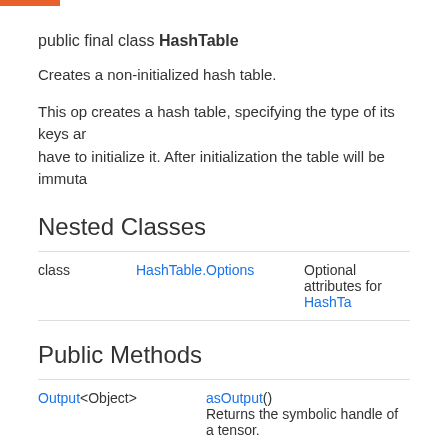public final class HashTable
Creates a non-initialized hash table.
This op creates a hash table, specifying the type of its keys and values. You also have to initialize it. After initialization the table will be immutable.
Nested Classes
|  |  |  |
| --- | --- | --- |
| class | HashTable.Options | Optional attributes for HashTa... |
Public Methods
|  |  |  |
| --- | --- | --- |
| Output<Object> | asOutput() | Returns the symbolic handle of a tensor. |
| static
HashTable.Options | container(String container) |  |